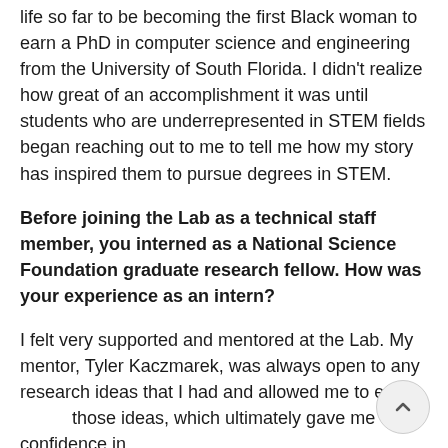life so far to be becoming the first Black woman to earn a PhD in computer science and engineering from the University of South Florida. I didn't realize how great of an accomplishment it was until students who are underrepresented in STEM fields began reaching out to me to tell me how my story has inspired them to pursue degrees in STEM.
Before joining the Lab as a technical staff member, you interned as a National Science Foundation graduate research fellow. How was your experience as an intern?
I felt very supported and mentored at the Lab. My mentor, Tyler Kaczmarek, was always open to any research ideas that I had and allowed me to explore those ideas, which ultimately gave me confidence in